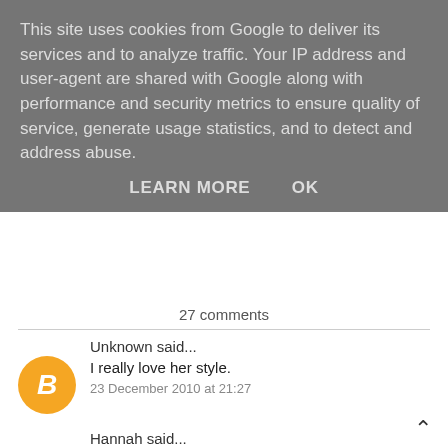This site uses cookies from Google to deliver its services and to analyze traffic. Your IP address and user-agent are shared with Google along with performance and security metrics to ensure quality of service, generate usage statistics, and to detect and address abuse.
LEARN MORE   OK
27 comments
Unknown said...
I really love her style.
23 December 2010 at 21:27
Hannah said...
she gorgeous! I love posts like these!xxx
23 December 2010 at 21:44
Anonymous said...
Pixie Lott is gorgeous and I love her style.. I envy her!!

www.herpetitefigure.blogspot.com
x
23 December 2010 at 21:46